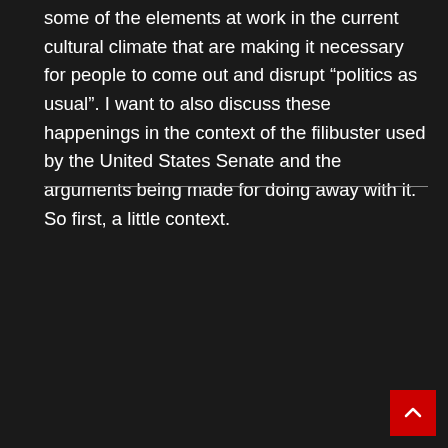some of the elements at work in the current cultural climate that are making it necessary for people to come out and disrupt “politics as usual”. I want to also discuss these happenings in the context of the filibuster used by the United States Senate and the arguments being made for doing away with it. So first, a little context.